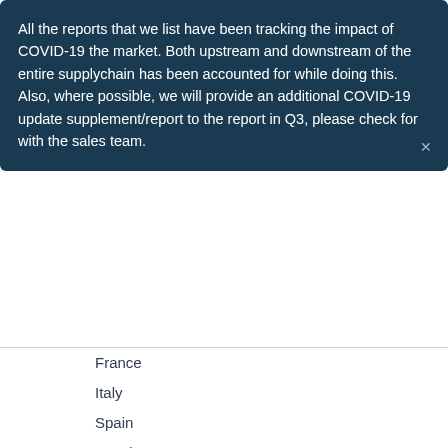All the reports that we list have been tracking the impact of COVID-19 the market. Both upstream and downstream of the entire supplychain has been accounted for while doing this. Also, where possible, we will provide an additional COVID-19 update supplement/report to the report in Q3, please check for with the sales team.
France
Italy
Spain
Russia
Netherlands
Turkey
Switzerland
Sweden
Poland
Belgium
China
Japan
South Korea
Australia
India